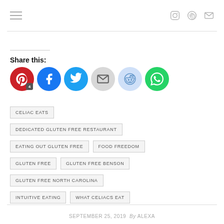Navigation bar with hamburger menu and social icons
Share this:
[Figure (other): Row of social share buttons: Pinterest (with badge 4), Facebook, Twitter, Email, Reddit, WhatsApp]
CELIAC EATS
DEDICATED GLUTEN FREE RESTAURANT
EATING OUT GLUTEN FREE
FOOD FREEDOM
GLUTEN FREE
GLUTEN FREE BENSON
GLUTEN FREE NORTH CAROLINA
INTUITIVE EATING
WHAT CELIACS EAT
SEPTEMBER 25, 2019  By ALEXA